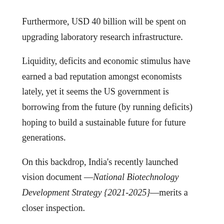Furthermore, USD 40 billion will be spent on upgrading laboratory research infrastructure.
Liquidity, deficits and economic stimulus have earned a bad reputation amongst economists lately, yet it seems the US government is borrowing from the future (by running deficits) hoping to build a sustainable future for future generations.
On this backdrop, India's recently launched vision document —National Biotechnology Development Strategy {2021-2025}—merits a closer inspection.
Some prominent objectives of India's biotech strategy 2021-25 are:
To feature amongst the top 5 biotech destinations in the world by 2025 along the parameters of: